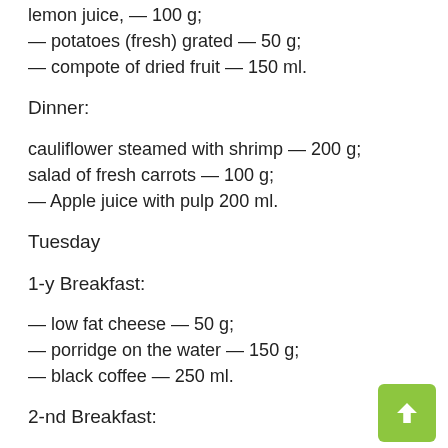lemon juice, — 100 g;
— potatoes (fresh) grated — 50 g;
— compote of dried fruit — 150 ml.
Dinner:
cauliflower steamed with shrimp — 200 g;
salad of fresh carrots — 100 g;
— Apple juice with pulp 200 ml.
Tuesday
1-y Breakfast:
— low fat cheese — 50 g;
— porridge on the water — 150 g;
— black coffee — 250 ml.
2-nd Breakfast:
— fresh berries with yogurt — 200 g;
— Apple juice with pulp — 150 ml.